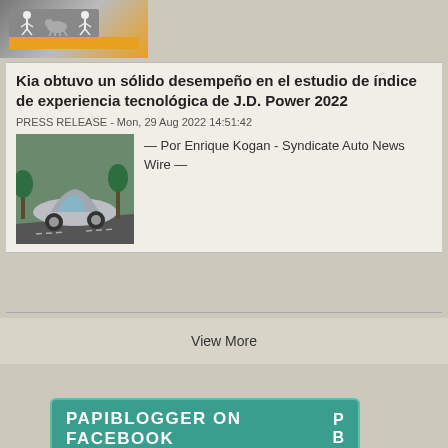[Figure (illustration): Sports activity icon strip with runners and a dog, orange accent bar at bottom]
Kia obtuvo un sólido desempeño en el estudio de índice de experiencia tecnológica de J.D. Power 2022
PRESS RELEASE - Mon, 29 Aug 2022 14:51:42
[Figure (photo): Photo of a silver Kia car driving on a road]
— Por Enrique Kogan - Syndicate Auto News Wire —
View More
PAPIBLOGGER ON FACEBOOK PB